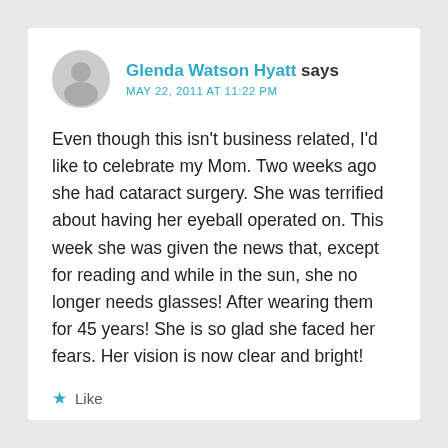Glenda Watson Hyatt says
MAY 22, 2011 AT 11:22 PM
Even though this isn't business related, I'd like to celebrate my Mom. Two weeks ago she had cataract surgery. She was terrified about having her eyeball operated on. This week she was given the news that, except for reading and while in the sun, she no longer needs glasses! After wearing them for 45 years! She is so glad she faced her fears. Her vision is now clear and bright!
★ Like